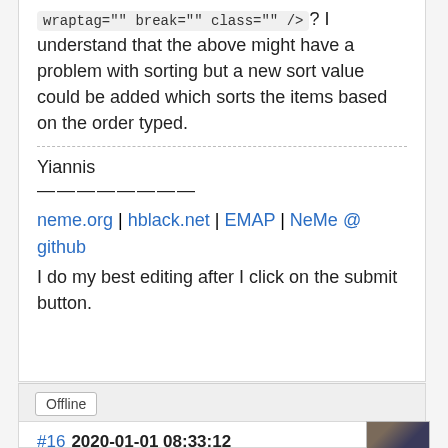wraptag="" break="" class="" />? I understand that the above might have a problem with sorting but a new sort value could be added which sorts the items based on the order typed.
Yiannis
————————
neme.org | hblack.net | EMAP | NeMe @ github
I do my best editing after I click on the submit button.
Offline
#16  2020-01-01 08:33:12